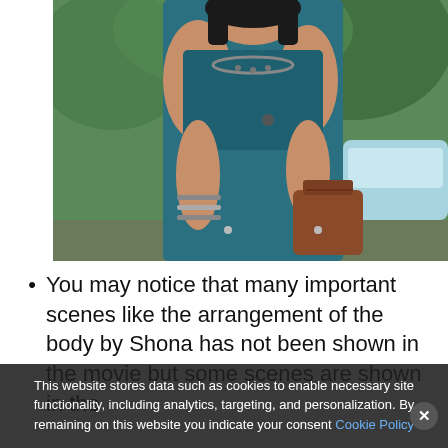[Figure (photo): A woman wearing a teal/dark blue saree with silver jewelry including a choker necklace and bracelets, holding a brown handbag. Green foliage and a light blue car visible in the background.]
You may notice that many important scenes like the arrangement of the body by Shona has not been shown in the movie but some scenes are shown in the background.
This website stores data such as cookies to enable necessary site functionality, including analytics, targeting, and personalization. By remaining on this website you indicate your consent Cookie Policy